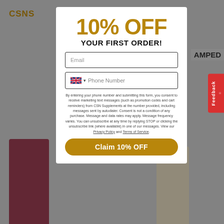[Figure (screenshot): E-commerce website popup modal offering 10% off first order, with email and phone number fields, disclaimer text, and a claim button. CSN Supplements brand. Background shows website with product images.]
10% OFF
YOUR FIRST ORDER!
Email
Phone Number
By entering your phone number and submitting this form, you consent to receive marketing text messages (such as promotion codes and cart reminders) from CSN Supplements at the number provided, including messages sent by autodialer. Consent is not a condition of any purchase. Message and data rates may apply. Message frequency varies. You can unsubscribe at any time by replying STOP or clicking the unsubscribe link (where available) in one of our messages. View our Privacy Policy and Terms of Service.
Claim 10% OFF